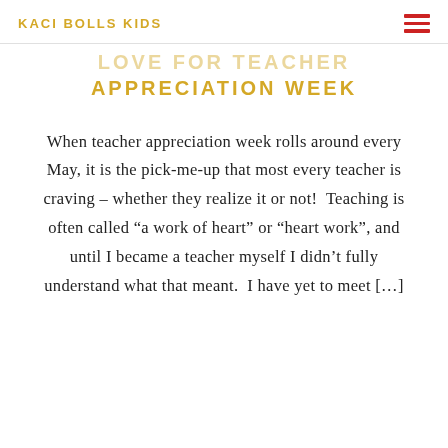KACI BOLLS KIDS
LOVE FOR TEACHER APPRECIATION WEEK
When teacher appreciation week rolls around every May, it is the pick-me-up that most every teacher is craving – whether they realize it or not!  Teaching is often called “a work of heart” or “heart work”, and until I became a teacher myself I didn’t fully understand what that meant.  I have yet to meet [...]